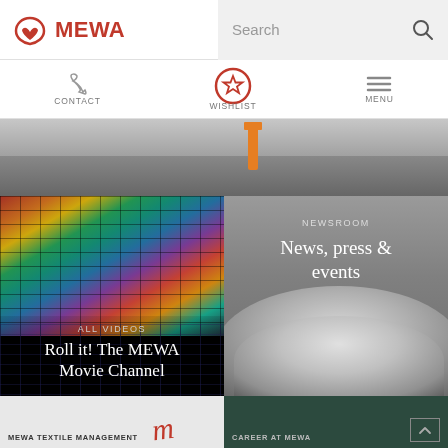[Figure (screenshot): MEWA website screenshot showing header with logo, search bar, navigation icons (Contact, Wishlist, Menu), hero image of worker on rocky terrain, two-column section with video gallery and newsroom tiles, and bottom strip with sub-sections]
MEWA
Search
CONTACT
WISHLIST
MENU
ALL VIDEOS
Roll it! The MEWA Movie Channel
NEWSROOM
News, press & events
MEWA TEXTILE MANAGEMENT
CAREER AT MEWA